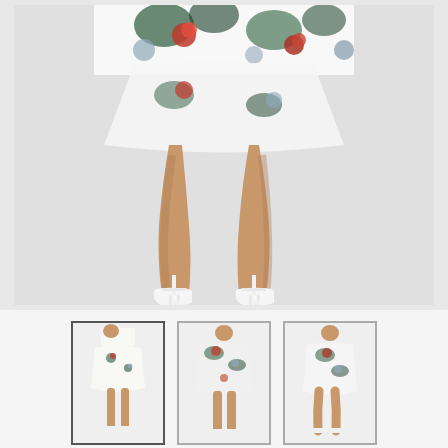[Figure (photo): Main product photo showing lower half of a model wearing a white floral print mini dress with red and green flowers, styled with white strappy heeled sandals, on a light gray background.]
[Figure (photo): Thumbnail 1 (active/selected): Full-length front view of model in white floral mini dress with white heeled sandals.]
[Figure (photo): Thumbnail 2: Full-length front view of model in white floral mini dress, slightly different angle.]
[Figure (photo): Thumbnail 3: Full-length front view of model in white floral mini dress, side or back angle.]